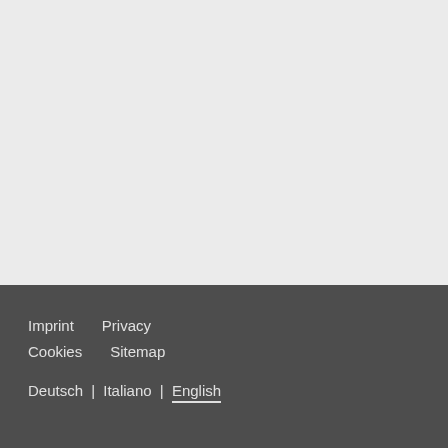[Figure (other): Large light gray empty area occupying the top portion of the page]
Imprint   Privacy
Cookies   Sitemap

Deutsch | Italiano | English